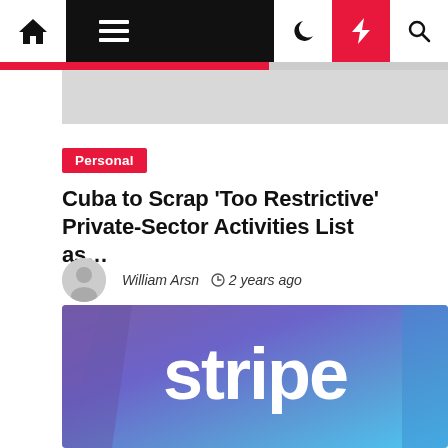[Figure (screenshot): Website navigation bar with home icon, hamburger menu (dark background), moon icon, red lightning bolt icon, and search icon]
Personal
Cuba to Scrap 'Too Restrictive' Private-Sector Activities List as…
William Arsn  ⊙ 2 years ago
[Figure (logo): Stripe logo on purple-to-blue gradient background]